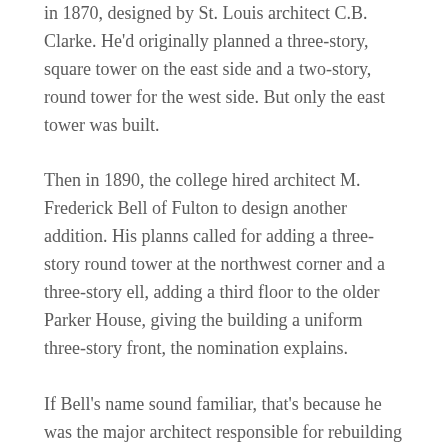in 1870, designed by St. Louis architect C.B. Clarke. He'd originally planned a three-story, square tower on the east side and a two-story, round tower for the west side. But only the east tower was built.
Then in 1890, the college hired architect M. Frederick Bell of Fulton to design another addition. His planns called for adding a three-story round tower at the northwest corner and a three-story ell, adding a third floor to the older Parker House, giving the building a uniform three-story front, the nomination explains.
If Bell's name sound familiar, that's because he was the major architect responsible for rebuilding the University of Missouri's Red Campus, the Francis Quadrangle, following the 1892 fire.